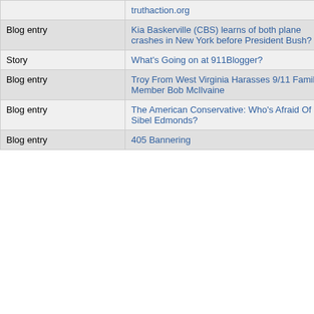| Type | Title | Author | Num |
| --- | --- | --- | --- |
|  | truthaction.org |  |  |
| Blog entry | Kia Baskerville (CBS) learns of both plane crashes in New York before President Bush? | justanidea | 76 |
| Story | What's Going on at 911Blogger? | GeorgeWashington | 76 |
| Blog entry | Troy From West Virginia Harasses 9/11 Family Member Bob McIlvaine | Jon Gold | 76 |
| Blog entry | The American Conservative: Who's Afraid Of Sibel Edmonds? | Jon Gold | 76 |
| Blog entry | 405 Bannering | bbruhwiler8 | 76 |
Twin Tower
Head of the FBI's Anthrax Invest Says the Whole Thing Was a Sham
Tony Szam: On NIST's 9/11 Sins of